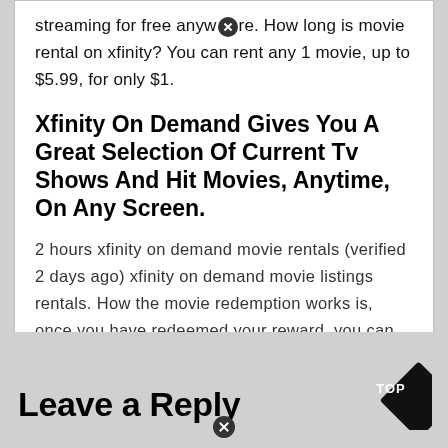streaming for free anywhere. How long is movie rental on xfinity? You can rent any 1 movie, up to $5.99, for only $1.
Xfinity On Demand Gives You A Great Selection Of Current Tv Shows And Hit Movies, Anytime, On Any Screen.
2 hours xfinity on demand movie rentals (verified 2 days ago) xfinity on demand movie listings rentals. How the movie redemption works is, once you have redeemed your reward, you can chose a movie rental up to $5.99 or less. (you can also use the search bar or the remote keypad.)
Leave a Reply